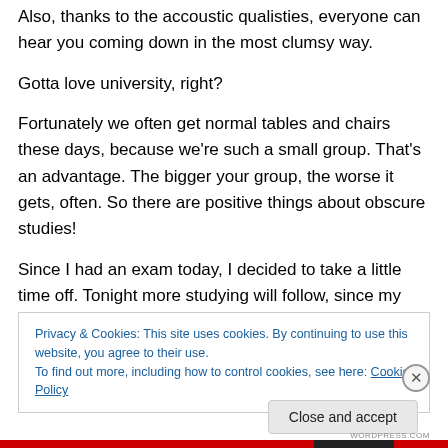Also, thanks to the accoustic qualisties, everyone can hear you coming down in the most clumsy way.
Gotta love university, right?
Fortunately we often get normal tables and chairs these days, because we're such a small group. That's an advantage. The bigger your group, the worse it gets, often. So there are positive things about obscure studies!
Since I had an exam today, I decided to take a little time off. Tonight more studying will follow, since my following
Privacy & Cookies: This site uses cookies. By continuing to use this website, you agree to their use. To find out more, including how to control cookies, see here: Cookie Policy
Close and accept